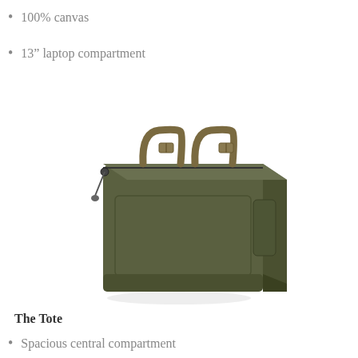100% canvas
13” laptop compartment
[Figure (photo): Olive green canvas tote bag with leather-style handles and buckle straps, photographed on a white background at a three-quarter angle.]
The Tote
Spacious central compartment